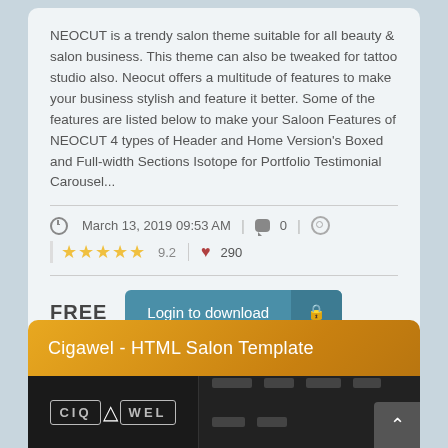NEOCUT is a trendy salon theme suitable for all beauty & salon business. This theme can also be tweaked for tattoo studio also. Neocut offers a multitude of features to make your business stylish and feature it better. Some of the features are listed below to make your Saloon Features of NEOCUT 4 types of Header and Home Version's Boxed and Full-width Sections Isotope for Portfolio Testimonial Carousel...
March 13, 2019 09:53 AM  0  ★★★★★ 9.2  ♥ 290
FREE  Login to download
Cigawel - HTML Salon Template
[Figure (screenshot): Preview of Cigawel HTML Salon Template showing dark navbar with logo CIQ WEL]